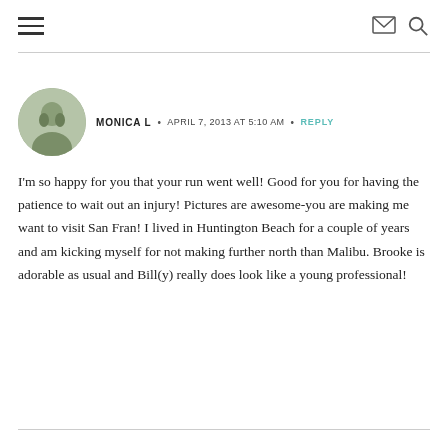≡  ✉ 🔍
MONICA L  •  APRIL 7, 2013 AT 5:10 AM  •  REPLY
I'm so happy for you that your run went well! Good for you for having the patience to wait out an injury! Pictures are awesome-you are making me want to visit San Fran! I lived in Huntington Beach for a couple of years and am kicking myself for not making further north than Malibu. Brooke is adorable as usual and Bill(y) really does look like a young professional!